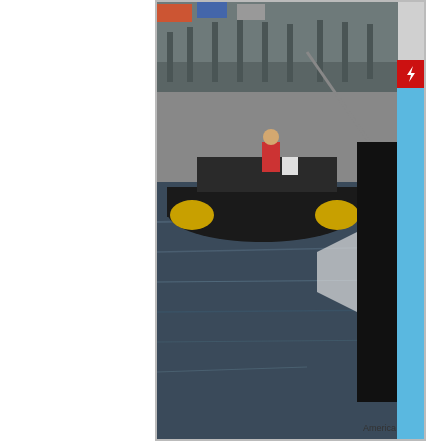[Figure (photo): Harbor/marina scene showing a boat or buoy on water with a dock in the background. A Flash plugin icon appears in the upper right corner. 'America' label visible at bottom right of frame.]
◆
In addition to commercial and residential window tinting, marine is an a... contacted us◆to address some problems and find solutions for some of... are amplified when in a marine environment and can add discomfort to... will work. Traditional dyed and metalized films fall victim to the harsh... reduces the performance of these films and increases your expenses. Th... its non-metal and non-dye construction. Inert ceramic materials will not... superior heat rejection and UV shielding properties, owners of high-end... nanotechnology films will provide many years of uncompromised perfo... mirrored films, also means a clearer view out both day and night – a ve... rise due to large amounts of uncontrolled energy transmitting through g...